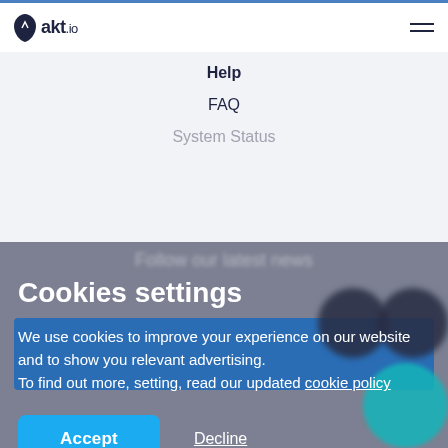akt.io
Help
FAQ
System Status
Cookies settings
We use cookies to improve your experience on our website and to show you relevant advertising.
To find out more, setting, read our updated cookie policy
Accept
Decline